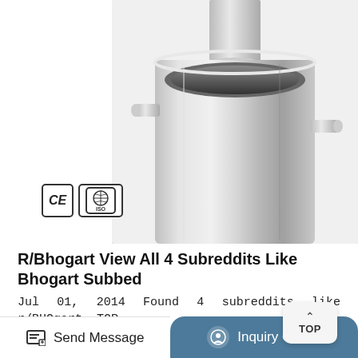[Figure (photo): Stainless steel hydrocarbon extractor/tube with CE and ISO certification badges visible in lower left corner of the product image]
R/Bhogart View All 4 Subreddits Like Bhogart Subbed
Jul 01, 2014 Found 4 subreddits like r/BHOgart subs). Bhogart is a light hydrocarbon botanical extractor company based in California. This is the place for pictures of Bhogart made extracts and extractors! Let's see some quality extraction and offer technical support to those who need it. Rank: 188277. View subreddit information or browse subreddits...
Send Message
Inquiry Online